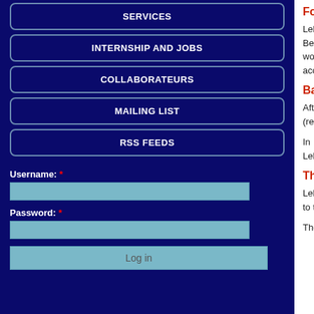SERVICES
INTERNSHIP AND JOBS
COLLABORATEURS
MAILING LIST
RSS FEEDS
Username: *
Password: *
Log in
Foreword
Lebanon is no stranger to turmoil and devastation. the Middle East and endured a 15-year civil w capital Beirut was rocked by the most devastatin the associated shock waves were felt in Cypru than 5000 wounded and extensive destruction. occurred. Officials have said it was caused by whether it was an accident or an attack.
Background
After gaining independence in 1943, Lebanon (represented by the president), Shiite Muslims Muslims (represented by the prime minister). Aft Prime Minister Rafiq Hariri was assassinated and
In the last decade, sectarian tensions between political gridlock. In May 2018, Lebanon held e percent. Lebanese politics have become a pr support for Shiite Hezbollah; and Saudi Arabia, w
The Lebanese economy
Lebanon's foreign minister, Nassif Hitti, resigned colleagues of lacking any intention to institute threatened to turn the country into "a failed state
The badly damaged port facility is Lebanon's lar